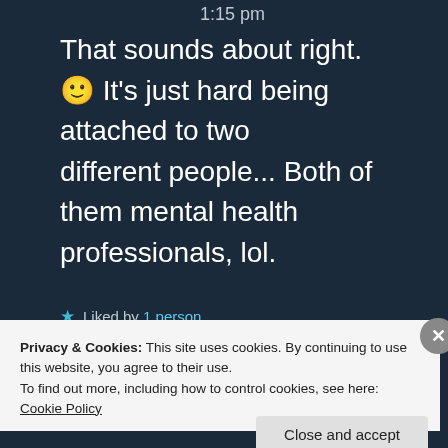1:15 pm
That sounds about right. 🙂 It's just hard being attached to two different people... Both of them mental health professionals, lol.
★ Liked by 1 person
Privacy & Cookies: This site uses cookies. By continuing to use this website, you agree to their use.
To find out more, including how to control cookies, see here: Cookie Policy
Close and accept